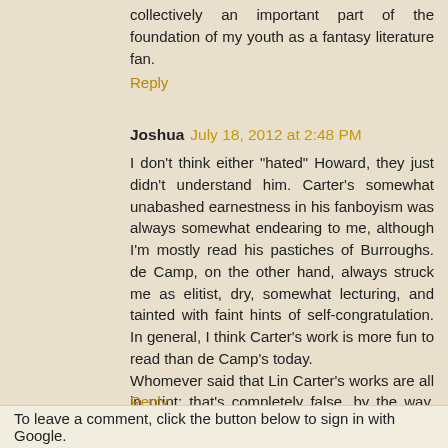collectively an important part of the foundation of my youth as a fantasy literature fan.
Reply
Joshua   July 18, 2012 at 2:48 PM
I don't think either "hated" Howard, they just didn't understand him. Carter's somewhat unabashed earnestness in his fanboyism was always somewhat endearing to me, although I'm mostly read his pastiches of Burroughs. de Camp, on the other hand, always struck me as elitist, dry, somewhat lecturing, and tainted with faint hints of self-congratulation. In general, I think Carter's work is more fun to read than de Camp's today.
Whomever said that Lin Carter's works are all in print: that's completely false, by the way. SOME of his stuff has been collected and re-issued by indie press, but much of his work can only be bought on the used market.
Reply
To leave a comment, click the button below to sign in with Google.